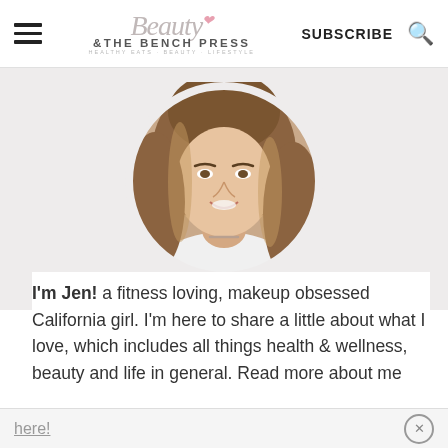Beauty & The Bench Press — SUBSCRIBE
[Figure (photo): Circular profile photo of Jen, a woman with long wavy blonde/brown hair, smiling, wearing a white top and a bar necklace]
I'm Jen! a fitness loving, makeup obsessed California girl. I'm here to share a little about what I love, which includes all things health & wellness, beauty and life in general. Read more about me here!